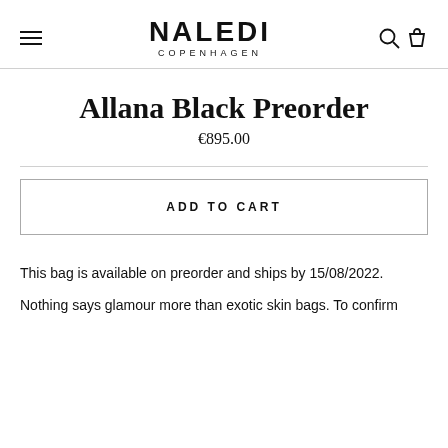NALEDI COPENHAGEN
Allana Black Preorder
€895.00
ADD TO CART
This bag is available on preorder and ships by 15/08/2022.
Nothing says glamour more than exotic skin bags. To confirm the preorder, you'll be talking about details about your purchase.